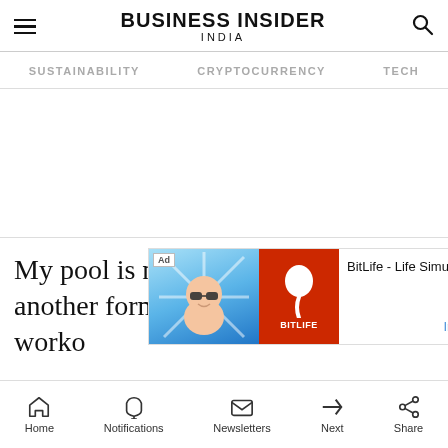BUSINESS INSIDER INDIA
SUSTAINABILITY  CRYPTOCURRENCY  TECH
[Figure (other): Empty white advertisement space]
My pool is not open, so I opted for another form of car... body worko...
[Figure (other): BitLife - Life Simulator advertisement overlay with animated baby graphic and red BitLife logo panel]
Home  Notifications  Newsletters  Next  Share